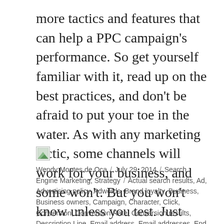more tactics and features that can help a PPC campaign's performance. So get yourself familiar with it, read up on the best practices, and don't be afraid to put your toe in the water. As with any marketing tactic, some channels will work for your business, and some won't. But you won't know unless you test. Just remember the foundation of success hinges on the PPC Tri-Pod. The possibilities are endless.
Wendy Montes de Oca / July 29, 2014 / Search Engine Marketing, Strategy / Actual search results, Ad, Advertising policy, Adwords, Brand loyalty, Business, Business owners, Campaign, Character, Click, Conversion, Conversion Rate, Conversion results, Description Line, Email address, Email addresses, End user, Goal, Google AdWords, In-house marketing leader, Keyword, Keyword consistency, Keyword phrases, Keyword research,